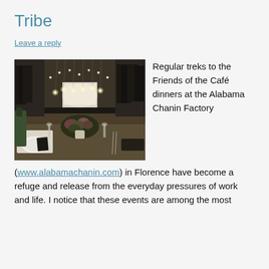Tribe
Leave a reply
[Figure (photo): Indoor dinner table setting with floral centerpiece, candles, glassware, plates, and hanging string lights above. Clothing racks visible in background suggesting a clothing store or factory space.]
Regular treks to the Friends of the Café dinners at the Alabama Chanin Factory (www.alabamachanin.com) in Florence have become a refuge and release from the everyday pressures of work and life. I notice that these events are among the most